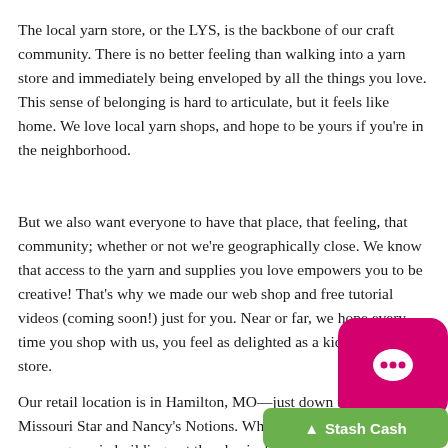The local yarn store, or the LYS, is the backbone of our craft community. There is no better feeling than walking into a yarn store and immediately being enveloped by all the things you love. This sense of belonging is hard to articulate, but it feels like home. We love local yarn shops, and hope to be yours if you're in the neighborhood.
But we also want everyone to have that place, that feeling, that community; whether or not we're geographically close. We know that access to the yarn and supplies you love empowers you to be creative! That's why we made our web shop and free tutorial videos (coming soon!) just for you. Near or far, we hope every time you shop with us, you feel as delighted as a kid in a candy store.
Our retail location is in Hamilton, MO—just down the street from Missouri Star and Nancy's Notions. While Covid-19 has slowed our progress in building out the physical space, we have no doubt in our commitment...
[Figure (other): Pink chat bubble widget with speech bubble icon, and green Stash Cash button overlay in bottom right corner of the page]